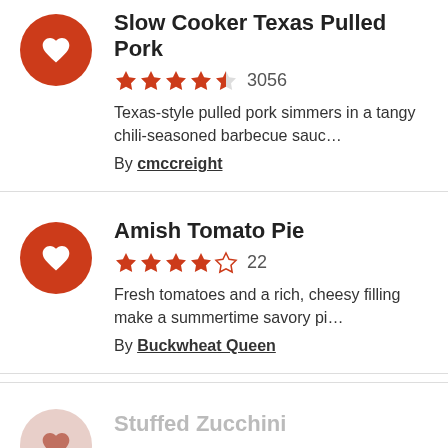Slow Cooker Texas Pulled Pork — 4.5 stars, 3056 reviews. Texas-style pulled pork simmers in a tangy chili-seasoned barbecue sauc… By cmccreight
Amish Tomato Pie — 4 stars, 22 reviews. Fresh tomatoes and a rich, cheesy filling make a summertime savory pi… By Buckwheat Queen
Stuffed Zucchini (partially visible)